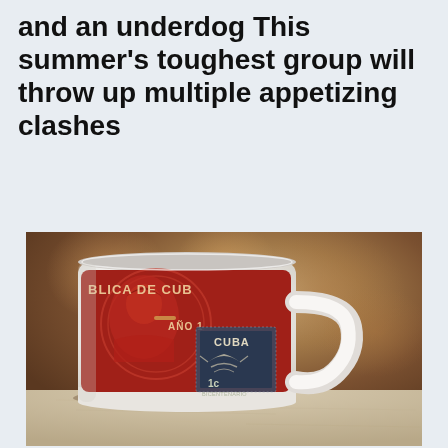and an underdog This summer's toughest group will throw up multiple appetizing clashes
[Figure (photo): A white ceramic coffee mug with a red Cuban stamp/postage design (reading 'BLICA DE CUB', 'AÑO 1', and a Cuban postage stamp with '1c BICENTENARIO' and a bird motif) sitting on a marble or light stone surface, with a warm blurred brown/tan bokeh background.]